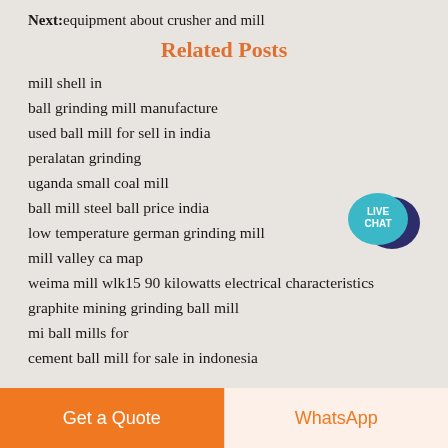Next:equipment about crusher and mill
Related Posts
mill shell in
ball grinding mill manufacture
used ball mill for sell in india
peralatan grinding
uganda small coal mill
ball mill steel ball price india
low temperature german grinding mill
mill valley ca map
weima mill wlk15 90 kilowatts electrical characteristics
graphite mining grinding ball mill
mi ball mills for
cement ball mill for sale in indonesia
[Figure (other): Live Chat badge - teal speech bubble icon with LIVE CHAT text]
Get a Quote
WhatsApp